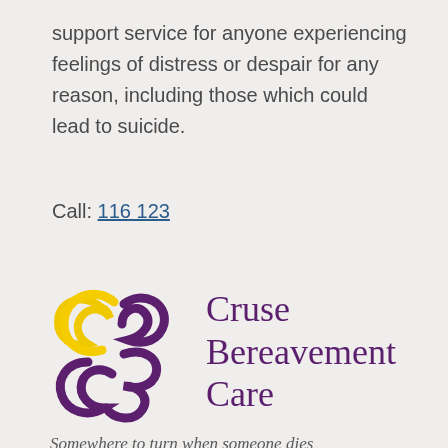support service for anyone experiencing feelings of distress or despair for any reason, including those which could lead to suicide.
Call: 116 123
[Figure (logo): Cruse Bereavement Care logo with purple and yellow flower/swirl design and text 'Cruse Bereavement Care – Somewhere to turn when someone dies']